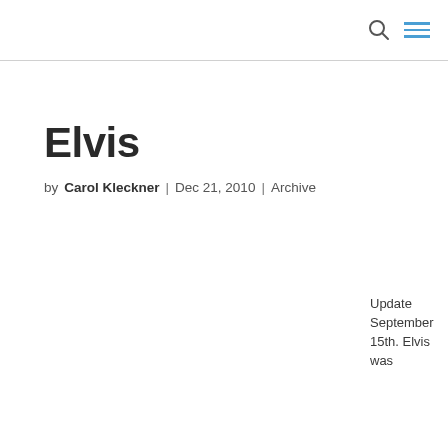Elvis
by Carol Kleckner | Dec 21, 2010 | Archive
Update September 15th. Elvis was